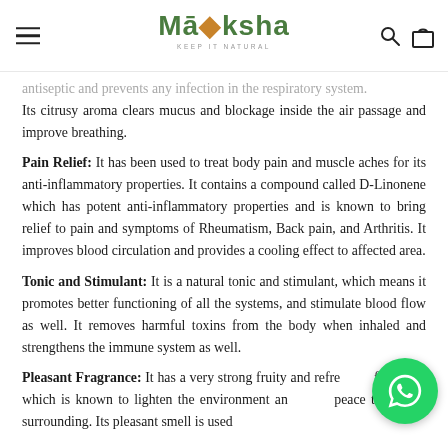Moksha — Keep it Natural
antiseptic and prevents any infection in the respiratory system. Its citrusy aroma clears mucus and blockage inside the air passage and improve breathing.
Pain Relief: It has been used to treat body pain and muscle aches for its anti-inflammatory properties. It contains a compound called D-Linonene which has potent anti-inflammatory properties and is known to bring relief to pain and symptoms of Rheumatism, Back pain, and Arthritis. It improves blood circulation and provides a cooling effect to affected area.
Tonic and Stimulant: It is a natural tonic and stimulant, which means it promotes better functioning of all the systems, and stimulate blood flow as well. It removes harmful toxins from the body when inhaled and strengthens the immune system as well.
Pleasant Fragrance: It has a very strong fruity and refreshing fragrance which is known to lighten the environment and bring peace to tensive surrounding. Its pleasant smell is used